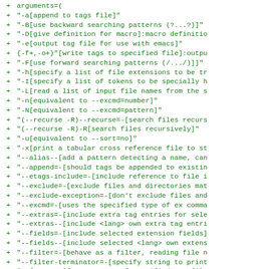Diff/code listing showing added lines (+) with arguments array content including various command-line option strings for a ctags-like program.